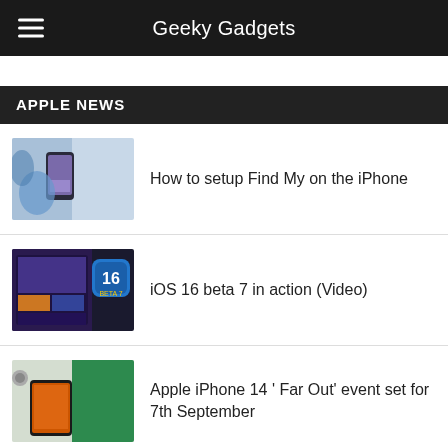Geeky Gadgets
APPLE NEWS
How to setup Find My on the iPhone
iOS 16 beta 7 in action (Video)
Apple iPhone 14 ' Far Out' event set for 7th September
watchOS 9